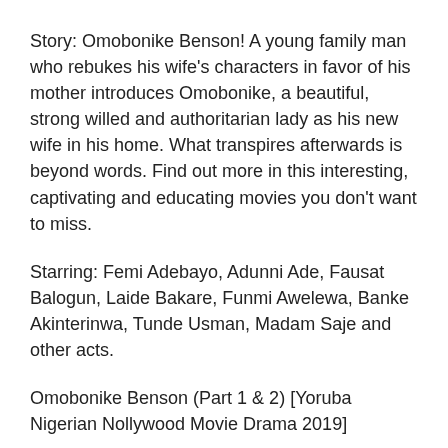Story: Omobonike Benson! A young family man who rebukes his wife's characters in favor of his mother introduces Omobonike, a beautiful, strong willed and authoritarian lady as his new wife in his home. What transpires afterwards is beyond words. Find out more in this interesting, captivating and educating movies you don't want to miss.
Starring: Femi Adebayo, Adunni Ade, Fausat Balogun, Laide Bakare, Funmi Awelewa, Banke Akinterinwa, Tunde Usman, Madam Saje and other acts.
Omobonike Benson (Part 1 & 2) [Yoruba Nigerian Nollywood Movie Drama 2019]
Omobonike Benson (Part 1) [Yoruba Nigerian Nollywood Movie Drama 2019]